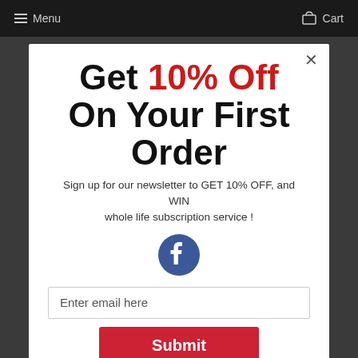Menu  Cart
Get 10% Off On Your First Order
Sign up for our newsletter to GET 10% OFF, and WIN whole life subscription service !
[Figure (logo): Facebook circular logo icon in blue]
Enter email here
Submit